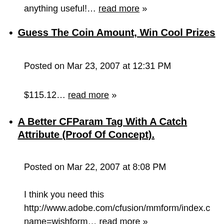anything useful!… read more »
Guess The Coin Amount, Win Cool Prizes
Posted on Mar 23, 2007 at 12:31 PM
$115.12… read more »
A Better CFParam Tag With A Catch Attribute (Proof Of Concept)
Posted on Mar 22, 2007 at 8:08 PM
I think you need this http://www.adobe.com/cfusion/mmform/index.c name=wishform… read more »